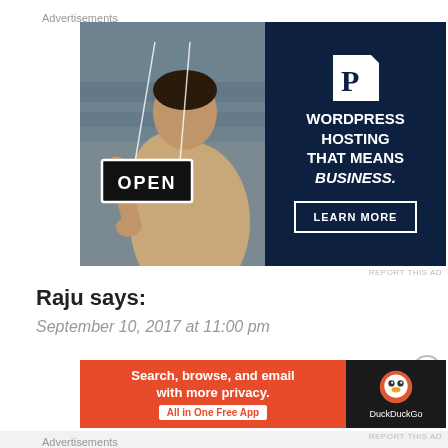Advertisements
[Figure (illustration): WordPress hosting advertisement. Left half shows a woman holding an OPEN sign. Right half is dark blue with WordPress P logo, text WORDPRESS HOSTING THAT MEANS BUSINESS., and a LEARN MORE button.]
REPORT THIS AD
Raju says:
September 10, 2017 at 11:00 pm
Advertisements
[Figure (illustration): DuckDuckGo advertisement. Left orange section says Search, browse, and email with more privacy. All in One Free App. Right dark section shows DuckDuckGo logo and name.]
REPORT THIS AD